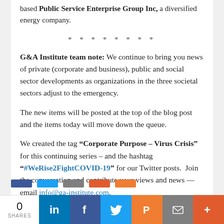based Public Service Enterprise Group Inc, a diversified energy company.
* * * * * * * *
G&A Institute team note: We continue to bring you news of private (corporate and business), public and social sector developments as organizations in the three societal sectors adjust to the emergency.
The new items will be posted at the top of the blog post and the items today will move down the queue.
We created the tag “Corporate Purpose – Virus Crisis” for this continuing series – and the hashtag “#WeRise2FightCOVID-19” for our Twitter posts.  Join the conversation and contribute your views and news — email info@ga-institute.com.
[Figure (infographic): Social sharing bar with 0 SHARES count and buttons for LinkedIn, Facebook, Twitter, Pocket, Email, and More]
0 SHARES